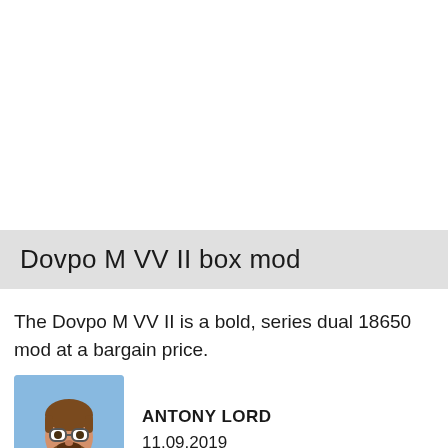Dovpo M VV II box mod
The Dovpo M VV II is a bold, series dual 18650 mod at a bargain price.
[Figure (illustration): Avatar illustration of a man with brown hair, glasses, and a beard on a blue/purple background]
ANTONY LORD
11.09.2019